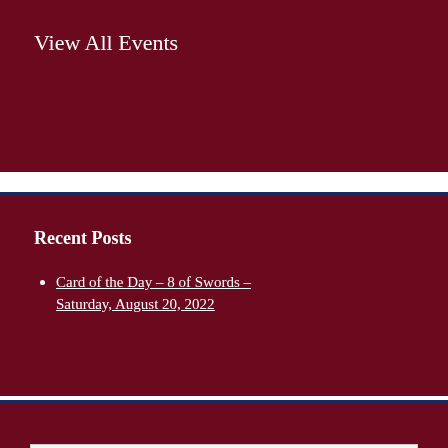View All Events
Recent Posts
Card of the Day – 8 of Swords – Saturday, August 20, 2022
Search …